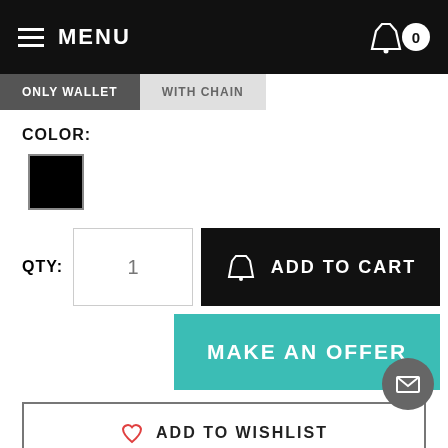MENU | Cart 0
ONLY WALLET
WITH CHAIN
COLOR:
[Figure (other): Black color swatch square]
QTY: 1
ADD TO CART
MAKE AN OFFER
ADD TO WISHLIST
RELATED ITEMS